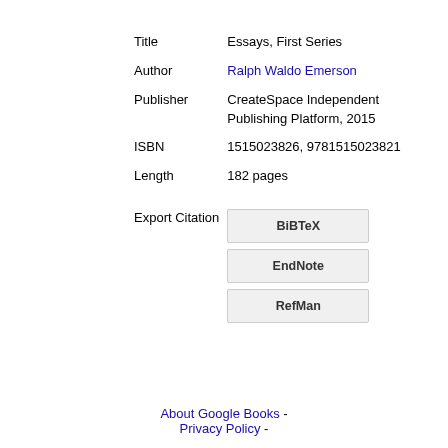| Field | Value |
| --- | --- |
| Title | Essays, First Series |
| Author | Ralph Waldo Emerson |
| Publisher | CreateSpace Independent Publishing Platform, 2015 |
| ISBN | 1515023826, 9781515023821 |
| Length | 182 pages |
| Export Citation | BiBTeX | EndNote | RefMan |
About Google Books - Privacy Policy -